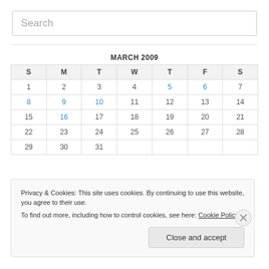Search
| S | M | T | W | T | F | S |
| --- | --- | --- | --- | --- | --- | --- |
| 1 | 2 | 3 | 4 | 5 | 6 | 7 |
| 8 | 9 | 10 | 11 | 12 | 13 | 14 |
| 15 | 16 | 17 | 18 | 19 | 20 | 21 |
| 22 | 23 | 24 | 25 | 26 | 27 | 28 |
| 29 | 30 | 31 |  |  |  |  |
MARCH 2009
Privacy & Cookies: This site uses cookies. By continuing to use this website, you agree to their use.
To find out more, including how to control cookies, see here: Cookie Policy
Close and accept